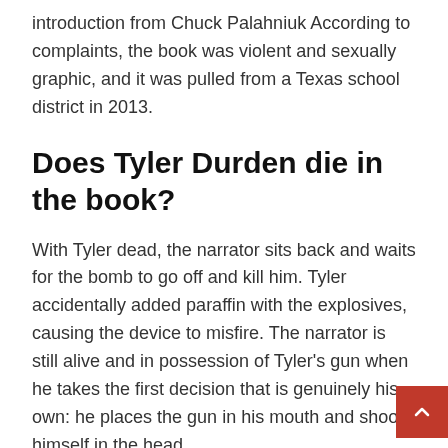introduction from Chuck Palahniuk According to complaints, the book was violent and sexually graphic, and it was pulled from a Texas school district in 2013.
Does Tyler Durden die in the book?
With Tyler dead, the narrator sits back and waits for the bomb to go off and kill him. Tyler accidentally added paraffin with the explosives, causing the device to misfire. The narrator is still alive and in possession of Tyler's gun when he takes the first decision that is genuinely his own: he places the gun in his mouth and shoots himself in the head.